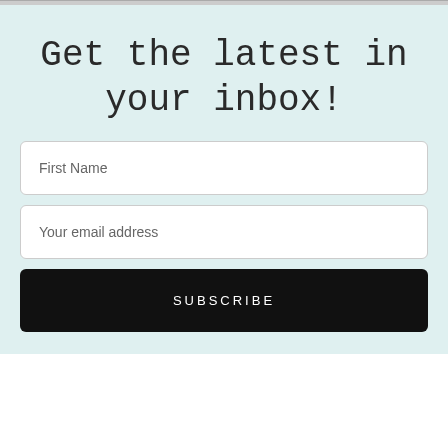Get the latest in your inbox!
First Name
Your email address
SUBSCRIBE